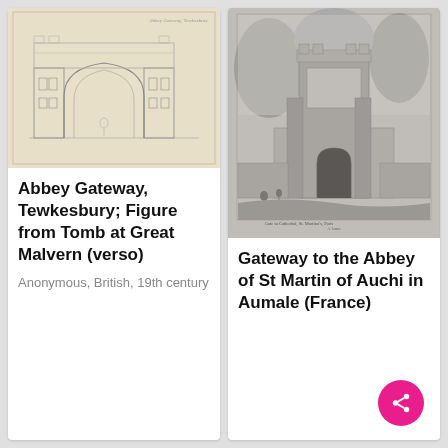[Figure (illustration): Pencil sketch of Abbey Gateway, Tewkesbury with architectural details including an arched gateway and towers]
Abbey Gateway, Tewkesbury; Figure from Tomb at Great Malvern (verso)
Anonymous, British, 19th century
[Figure (illustration): Black and white etching of the Gateway to the Abbey of St Martin of Auchi in Aumale, France, showing a large ornate stone gateway surrounded by trees]
Gateway to the Abbey of St Martin of Auchi in Aumale (France)